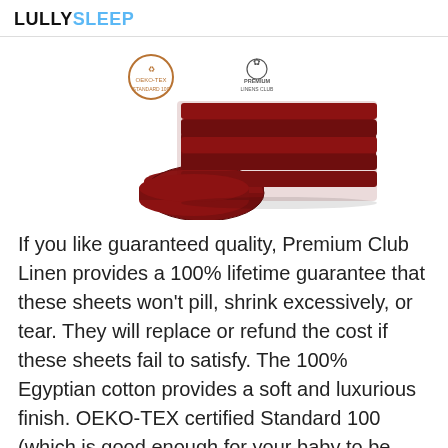LULLYSLEEP
[Figure (photo): Folded dark burgundy/maroon bed sheets set stacked neatly, with OEKO-TEX certification logo and Premium Linens Club cotton logo above]
If you like guaranteed quality, Premium Club Linen provides a 100% lifetime guarantee that these sheets won't pill, shrink excessively, or tear. They will replace or refund the cost if these sheets fail to satisfy. The 100% Egyptian cotton provides a soft and luxurious finish. OEKO-TEX certified Standard 100 (which is good enough for your baby to be safe on these